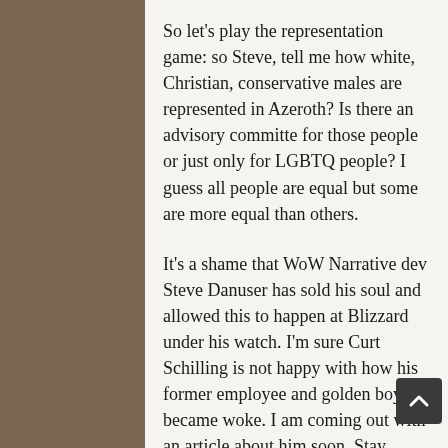So let's play the representation game: so Steve, tell me how white, Christian, conservative males are represented in Azeroth? Is there an advisory committe for those people or just only for LGBTQ people? I guess all people are equal but some are more equal than others.
It's a shame that WoW Narrative dev Steve Danuser has sold his soul and allowed this to happen at Blizzard under his watch. I'm sure Curt Schilling is not happy with how his former employee and golden boy became woke. I am coming out with an article about him soon. Stay tuned.
It doesn't surprise me that the Wowhead mods are censoring anyone that dares to question Blizzard's pandering to the alphabet people. They've been promoting that filth for the last few